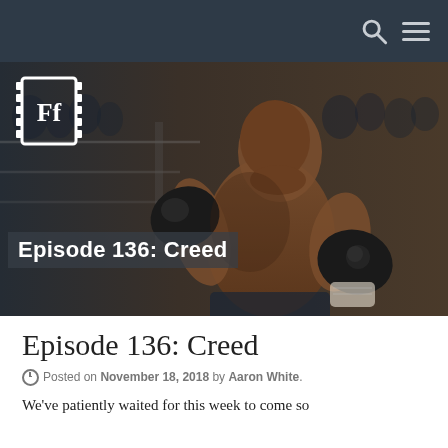[Figure (photo): Hero image showing a boxer (actor Michael B. Jordan) in a boxing ring, shirtless and wearing black boxing gloves, in a fighting stance. The film strip logo of the website (Ff) is visible in the top left. An overlay text reads 'Episode 136: Creed' in bold white text on a semi-transparent dark background.]
Episode 136: Creed
© Posted on November 18, 2018 by Aaron White.
We've patiently waited for this week to come so